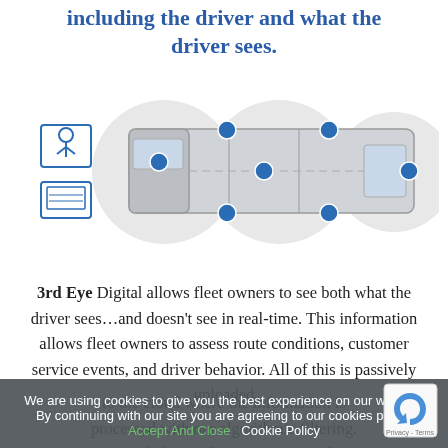including the driver and what the driver sees.
[Figure (illustration): Top-down diagram of a truck/bus with camera positions marked as blue circles at various points around the vehicle, with monitor/driver icons on the left side]
3rd Eye Digital allows fleet owners to see both what the driver sees…and doesn't see in real-time. This information allows fleet owners to assess route conditions, customer service events, and driver behavior. All of this is passively uploaded to the cloud where the information is processed with our algorithmic filtering. Driver behavioral events are ported to the 3rd Eye review team to alert fleet
We are using cookies to give you the best experience on our website. By continuing with our site you are agreeing to our cookies policy. Accept And Close   Cookie Policy